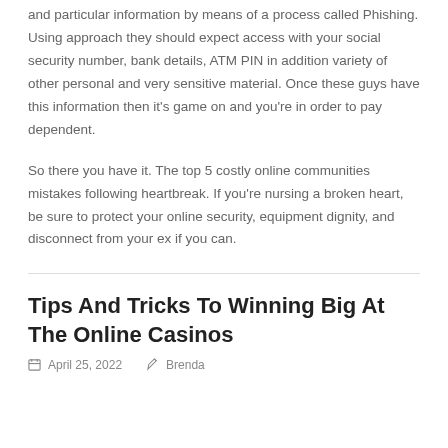and particular information by means of a process called Phishing. Using approach they should expect access with your social security number, bank details, ATM PIN in addition variety of other personal and very sensitive material. Once these guys have this information then it's game on and you're in order to pay dependent.
So there you have it. The top 5 costly online communities mistakes following heartbreak. If you're nursing a broken heart, be sure to protect your online security, equipment dignity, and disconnect from your ex if you can.
Tips And Tricks To Winning Big At The Online Casinos
April 25, 2022   Brenda